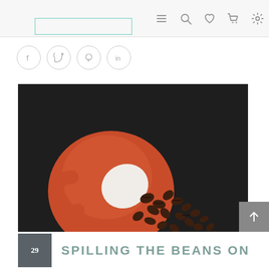Navigation bar with menu, search, wishlist, cart, and settings icons
Social share buttons: Facebook, Twitter, Pinterest, LinkedIn
[Figure (photo): Overhead view of an orange coffee cup tipped on its saucer with coffee beans spilling out across a dark slate background]
SPILLING THE BEANS ON